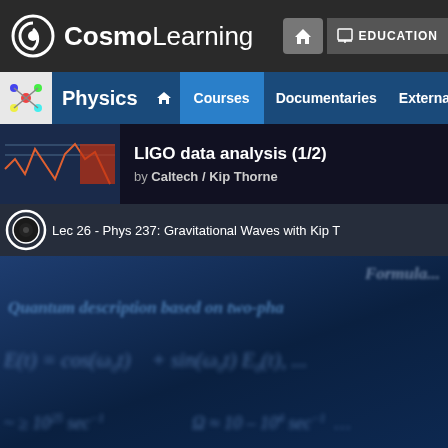CosmoLearning — EDUCATION
Physics — Courses | Documentaries | External
LIGO data analysis (1/2)
by Caltech / Kip Thorne
[Figure (screenshot): Video lecture thumbnail and player showing Lec 26 - Phys 237: Gravitational Waves with Kip T... with a blurred slide background showing quantum description based on two-phase formulas]
Lec 26 - Phys 237: Gravitational Waves with Kip T... Formula... Quantum description based on two-pha...